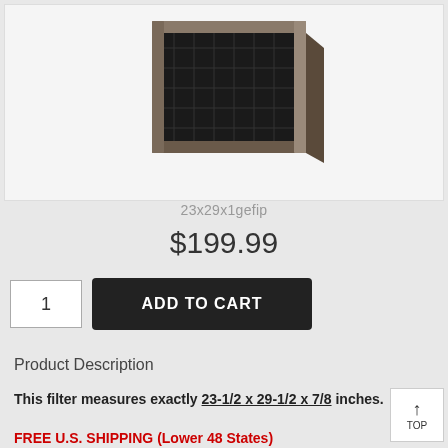[Figure (photo): Product photo of a black air filter with metal frame, angled view showing the filter media and aluminum frame.]
23x29x1gefip
$199.99
1
ADD TO CART
Product Description
This filter measures exactly 23-1/2 x 29-1/2 x 7/8 inches.
FREE U.S. SHIPPING (Lower 48 States)